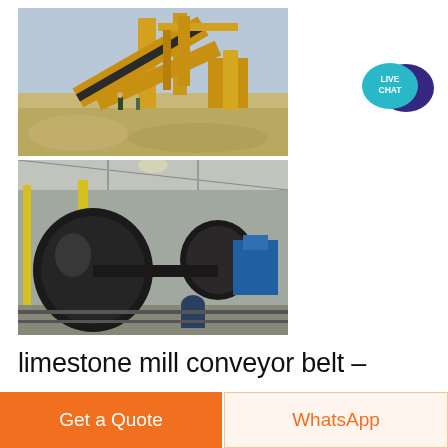[Figure (photo): Industrial quarry/mining site with yellow conveyor belt machinery, workers in background, gravel/limestone material visible]
[Figure (photo): Factory interior with large industrial conveyor belt drum/pulley assembly, worker bending over equipment on a workshop floor]
[Figure (illustration): Live Chat button - teal speech bubble with dark purple overlapping speech bubble, text reads LIVE CHAT]
limestone mill conveyor belt –
Get a Quote
WhatsApp